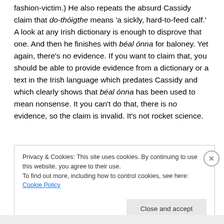fashion-victim.) He also repeats the absurd Cassidy claim that do-thóigthe means 'a sickly, hard-to-feed calf.' A look at any Irish dictionary is enough to disprove that one. And then he finishes with béal ónna for baloney. Yet again, there's no evidence. If you want to claim that, you should be able to provide evidence from a dictionary or a text in the Irish language which predates Cassidy and which clearly shows that béal ónna has been used to mean nonsense. It you can't do that, there is no evidence, so the claim is invalid. It's not rocket science.
Privacy & Cookies: This site uses cookies. By continuing to use this website, you agree to their use. To find out more, including how to control cookies, see here: Cookie Policy